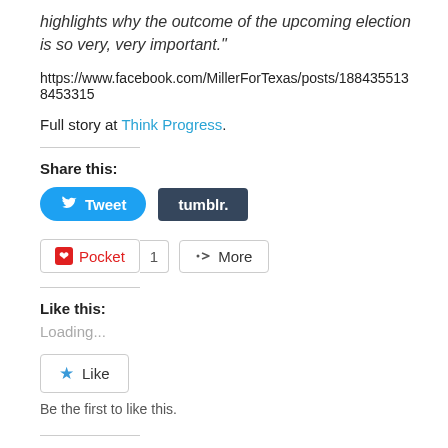highlights why the outcome of the upcoming election is so very, very important."
https://www.facebook.com/MillerForTexas/posts/1884355138453315
Full story at Think Progress.
[Figure (screenshot): Share buttons: Tweet (blue rounded button) and tumblr. (dark navy button)]
[Figure (screenshot): Pocket button with count 1, and More button with share icon]
Like this:
Loading...
[Figure (screenshot): Like button with blue star icon]
Be the first to like this.